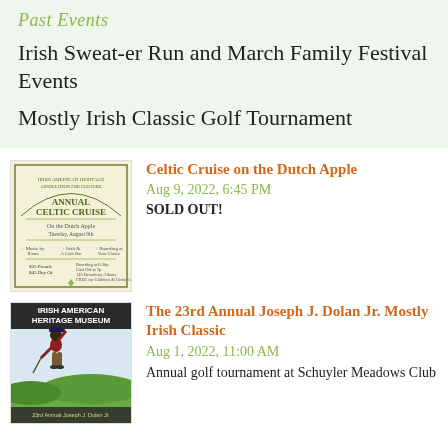Past Events
Irish Sweat-er Run and March Family Festival Events
Mostly Irish Classic Golf Tournament
[Figure (illustration): Annual Celtic Cruise event poster for Irish American Heritage Museum showing cruise details on the Dutch Apple]
Celtic Cruise on the Dutch Apple
Aug 9, 2022, 6:45 PM
SOLD OUT!
[Figure (illustration): Irish American Heritage Museum 23rd Annual Joseph J. Dolan Jr. Mostly Irish Classic golf tournament poster with golfer illustration]
The 23rd Annual Joseph J. Dolan Jr. Mostly Irish Classic
Aug 1, 2022, 11:00 AM
Annual golf tournament at Schuyler Meadows Club